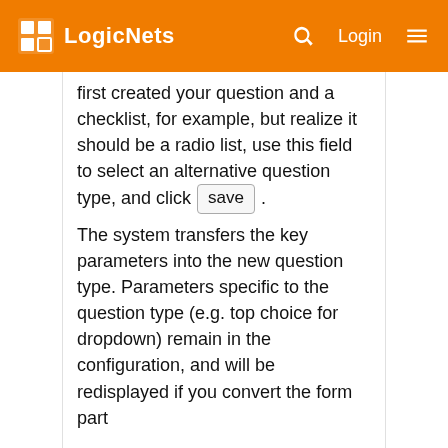LogicNets
first created your question and a checklist, for example, but realize it should be a radio list, use this field to select an alternative question type, and click save .
The system transfers the key parameters into the new question type. Parameters specific to the question type (e.g. top choice for dropdown) remain in the configuration, and will be redisplayed if you convert the form part